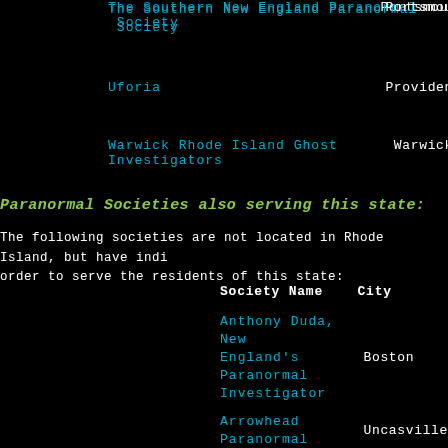The Southern New England Paranormal Society | Portsmouth
Uforia | Providence
Warwick Rhode Island Ghost Investigators | Warwick
Paranormal Societies also serving this state:
The following societies are not located in Rhode Island, but have indicated they are willing to travel in order to serve the residents of this state:
| Society Name | City |
| --- | --- |
| Anthony Duda, New England's Paranormal Investigator | Boston |
| Arrowhead Paranormal | Uncasville |
| Attleboro Paranormal Investigations | Attleboro |
| Attleboro Paranormal Investigations | Attleboro |